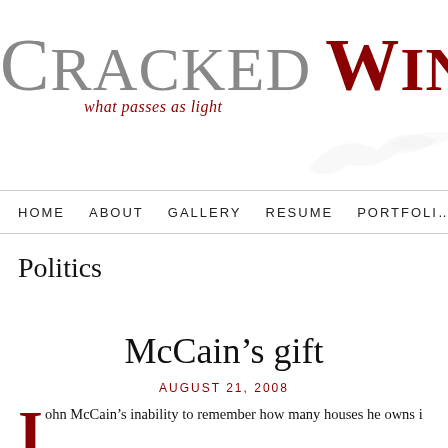CRACKED WINDOW — what passes as light
HOME   ABOUT   GALLERY   RESUME   PORTFOLIO
Politics
McCain's gift
AUGUST 21, 2008
John McCain's inability to remember how many houses he owns i...